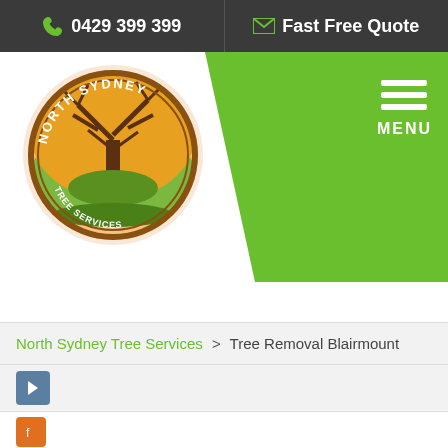0429 399 399 | Fast Free Quote
[Figure (logo): North Sydney Tree Services logo — circular badge with a tree illustration, orange/brown tones, with text NORTH SYDNEY TREE SERVICES]
MENU
North Sydney Tree Services > Tree Removal Blairmount
Trees add to the beauty and aesthetics of your property and provide plenty of shade; they help cool the environment and